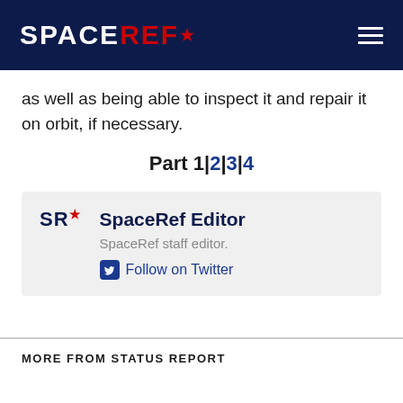SPACEREF*
as well as being able to inspect it and repair it on orbit, if necessary.
Part 1|2|3|4
SpaceRef Editor
SpaceRef staff editor.
Follow on Twitter
MORE FROM STATUS REPORT